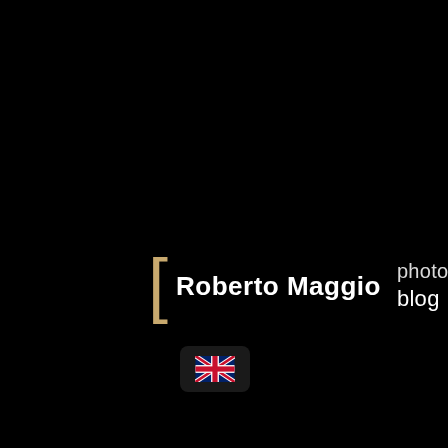Roberto Maggio photography blog
[Figure (illustration): UK flag emoji button in bottom left corner]